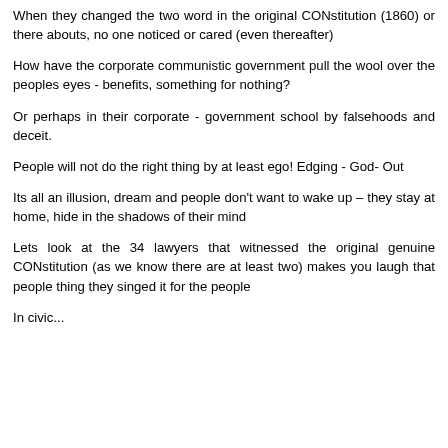When they changed the two word in the original CONstitution (1860) or there abouts, no one noticed or cared (even thereafter)
How have the corporate communistic government pull the wool over the peoples eyes - benefits, something for nothing?
Or perhaps in their corporate - government school by falsehoods and deceit.
People will not do the right thing by at least ego! Edging - God- Out
Its all an illusion, dream and people don't want to wake up – they stay at home, hide in the shadows of their mind
Lets look at the 34 lawyers that witnessed the original genuine CONstitution (as we know there are at least two) makes you laugh that people thing they singed it for the people
In civic...